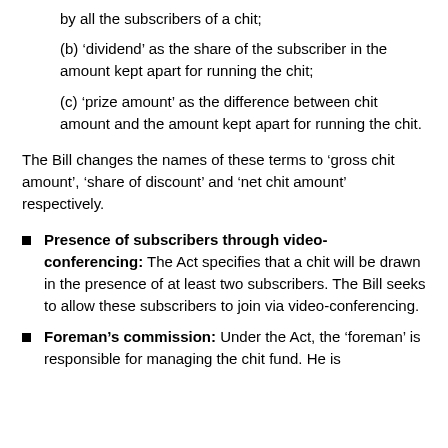by all the subscribers of a chit;
(b) 'dividend' as the share of the subscriber in the amount kept apart for running the chit;
(c) 'prize amount' as the difference between chit amount and the amount kept apart for running the chit.
The Bill changes the names of these terms to 'gross chit amount', 'share of discount' and 'net chit amount' respectively.
Presence of subscribers through video-conferencing: The Act specifies that a chit will be drawn in the presence of at least two subscribers. The Bill seeks to allow these subscribers to join via video-conferencing.
Foreman's commission: Under the Act, the 'foreman' is responsible for managing the chit fund. He is